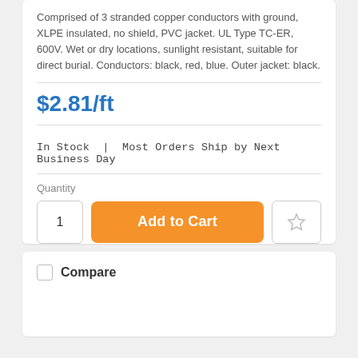Comprised of 3 stranded copper conductors with ground, XLPE insulated, no shield, PVC jacket. UL Type TC-ER, 600V. Wet or dry locations, sunlight resistant, suitable for direct burial. Conductors: black, red, blue. Outer jacket: black.
$2.81/ft
In Stock | Most Orders Ship by Next Business Day
Quantity
1
Add to Cart
Compare